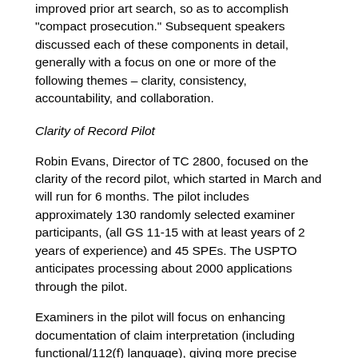improved prior art search, so as to accomplish 'compact prosecution.' Subsequent speakers discussed each of these components in detail, generally with a focus on one or more of the following themes – clarity, consistency, accountability, and collaboration.
Clarity of Record Pilot
Robin Evans, Director of TC 2800, focused on the clarity of the record pilot, which started in March and will run for 6 months. The pilot includes approximately 130 randomly selected examiner participants, (all GS 11-15 with at least years of 2 years of experience) and 45 SPEs. The USPTO anticipates processing about 2000 applications through the pilot.
Examiners in the pilot will focus on enhancing documentation of claim interpretation (including functional/112(f) language), giving more precise reasons